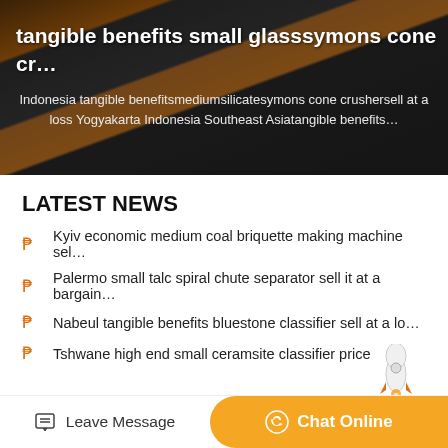[Figure (photo): Industrial machinery/cranes background image with dark overlay showing orange and grey industrial equipment]
tangible benefits small glasssymons cone cr…
Indonesia tangible benefitsmediumsilicatesymons cone crushersell at a loss Yogyakarta Indonesia Southeast Asiatangible benefits…
LATEST NEWS
Kyiv economic medium coal briquette making machine sel…
Palermo small talc spiral chute separator sell it at a bargain…
Nabeul tangible benefits bluestone classifier sell at a lo…
Tshwane high end small ceramsite classifier price
Leave Message
Chat Online